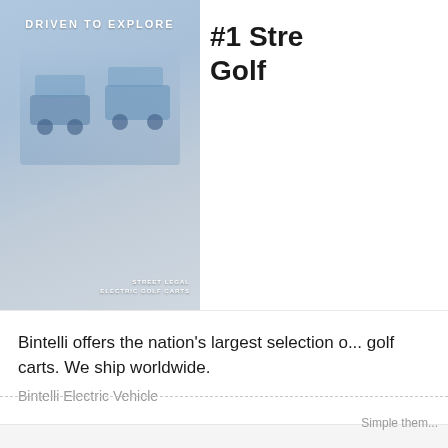[Figure (photo): Advertisement image showing vehicles with text 'DRIVEN TO EXPLORE' at top and 'STREET LEGAL ELECTRIC GOLF CARTS' at bottom right]
#1 Stre... Golf...
Bintelli offers the nation's largest selection of golf carts. We ship worldwide.
Bintelli Electric Vehicle
Simple them...